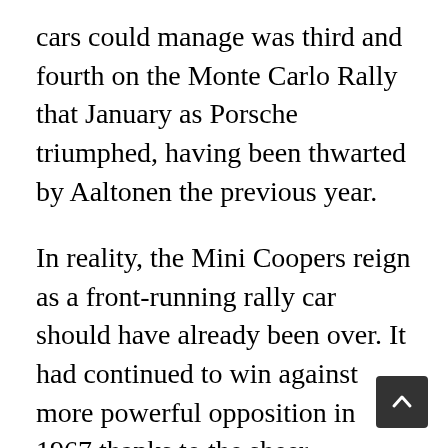cars could manage was third and fourth on the Monte Carlo Rally that January as Porsche triumphed, having been thwarted by Aaltonen the previous year.
In reality, the Mini Coopers reign as a front-running rally car should have already been over. It had continued to win against more powerful opposition in 1967 thanks to the sheer professionalism of the BMC Competitions Department at Abingdon. It must be remembered that all the Mini Cooper 1275S had to propel it a mere 1275cc and the men at Abingdon